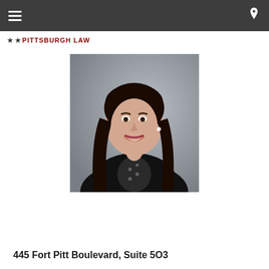[Figure (photo): Professional headshot of a young woman with long dark hair, smiling, wearing a black blazer over a patterned blouse, gray background.]
445 Fort Pitt Boulevard, Suite 5O3